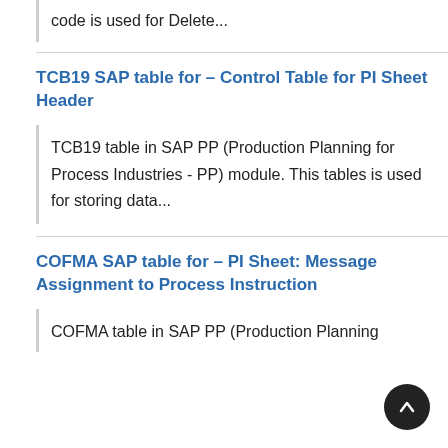code is used for Delete...
TCB19 SAP table for – Control Table for PI Sheet Header
TCB19 table in SAP PP (Production Planning for Process Industries - PP) module. This tables is used for storing data...
COFMA SAP table for – PI Sheet: Message Assignment to Process Instruction
COFMA table in SAP PP (Production Planning